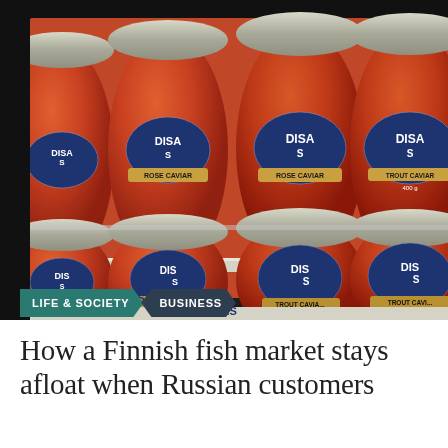[Figure (photo): Multiple jars of DISAS brand trout caviar and rose caviar arranged on refrigerator shelves, showing orange/red fish roe through glass jars with dark blue oval labels]
LIFE & SOCIETY / BUSINESS
How a Finnish fish market stays afloat when Russian customers